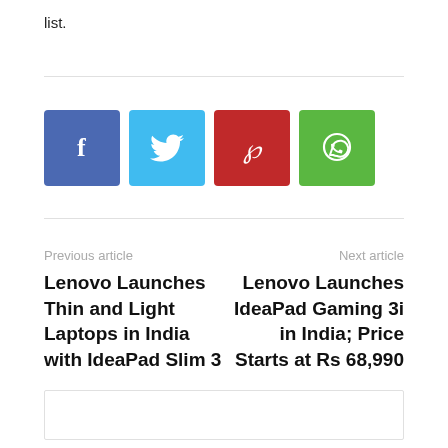list.
[Figure (other): Social share buttons: Facebook (blue), Twitter (light blue), Pinterest (red), WhatsApp (green)]
Previous article
Lenovo Launches Thin and Light Laptops in India with IdeaPad Slim 3
Next article
Lenovo Launches IdeaPad Gaming 3i in India; Price Starts at Rs 68,990
[Figure (other): Empty comment/content box at bottom of page]